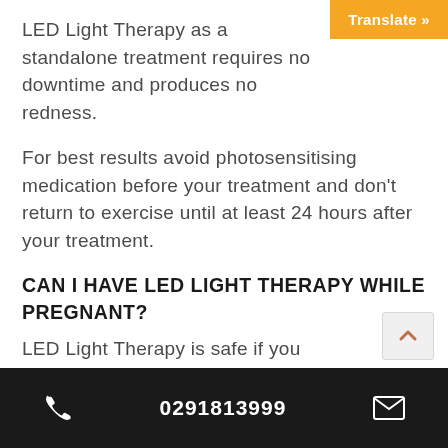[Figure (other): Orange 'Translate »' button in top-right corner]
LED Light Therapy as a standalone treatment requires no downtime and produces no redness.
For best results avoid photosensitising medication before your treatment and don't return to exercise until at least 24 hours after your treatment.
CAN I HAVE LED LIGHT THERAPY WHILE PREGNANT?
LED Light Therapy is safe if you
0291813999